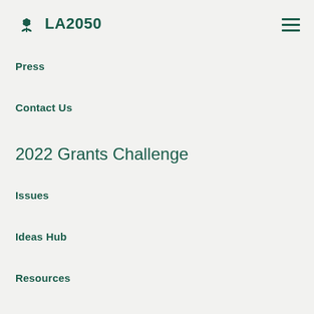LA2050
Press
Contact Us
2022 Grants Challenge
Issues
Ideas Hub
Resources
Partners
Opportunities & News